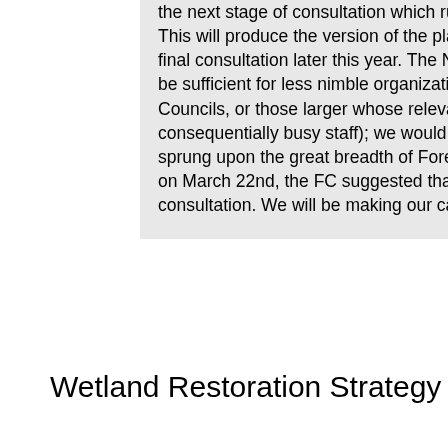the next stage of consultation which runs for eight weeks from 11 Apr 2016 to 6 Jun 2016. This will produce the version of the plan which will be submitted for the inspectorate, and final consultation later this year. The NFA will argue that the planned eight weeks may not be sufficient for less nimble organizations (those that meet less frequently, such as Parish Councils, or those larger whose relevant knowledge is spread across expert and consequentially busy staff); we would prefer ten to twelve weeks. When the timeframe was sprung upon the great breadth of Forest organizations in attendance at a special launch day on March 22nd, the FC suggested that they may be “flexible” about the length of the consultation. We will be making our case later this month.
Wetland Restoration Strategy